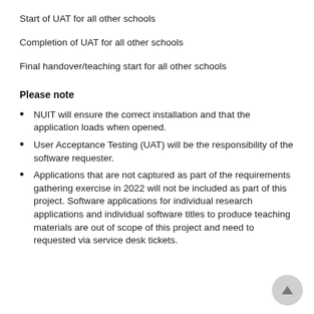Start of UAT for all other schools
Completion of UAT for all other schools
Final handover/teaching start for all other schools
Please note
NUIT will ensure the correct installation and that the application loads when opened.
User Acceptance Testing (UAT) will be the responsibility of the software requester.
Applications that are not captured as part of the requirements gathering exercise in 2022 will not be included as part of this project. Software applications for individual research applications and individual software titles to produce teaching materials are out of scope of this project and need to requested via service desk tickets.